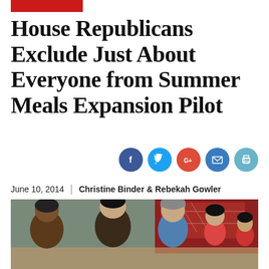House Republicans Exclude Just About Everyone from Summer Meals Expansion Pilot
[Figure (infographic): Social media sharing icons: Facebook (blue circle), Twitter (light blue circle), Google+ (red circle), Email/envelope (dark teal circle), Print (light blue circle)]
June 10, 2014  |  Christine Binder & Rebekah Gowler
[Figure (photo): Photograph of several elementary school children sitting at a table in a classroom, appearing to be eating or doing an activity. A red wall and decorative bulletin board are visible in the background.]